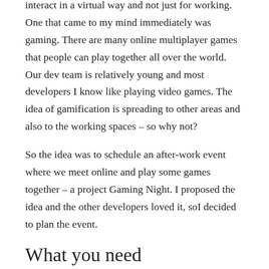interact in a virtual way and not just for working. One that came to my mind immediately was gaming. There are many online multiplayer games that people can play together all over the world. Our dev team is relatively young and most developers I know like playing video games. The idea of gamification is spreading to other areas and also to the working spaces – so why not?
So the idea was to schedule an after-work event where we meet online and play some games together – a project Gaming Night. I proposed the idea and the other developers loved it, soI decided to plan the event.
What you need
We decided to pick only free-to-play online games, so